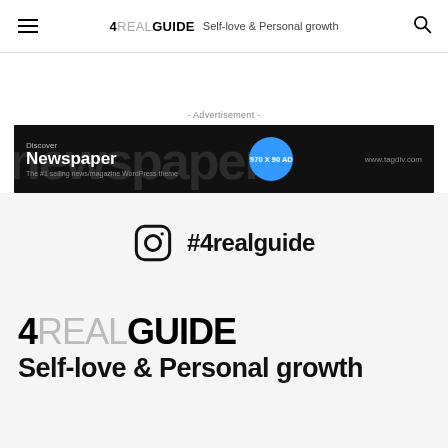4REALGUIDE Self-love & Personal growth
[Figure (other): Advertisement banner for Newspaper WordPress theme by tagdiv.com. Dark background with large faded 'newspaper' text. Shows 'Discover Newspaper – The #1 selling news/magazine WordPress theme' with a blue circular badge reading '970 X 90 AD' and URL www.tagdiv.com]
#4realguide
4REALGUIDE
Self-love & Personal growth